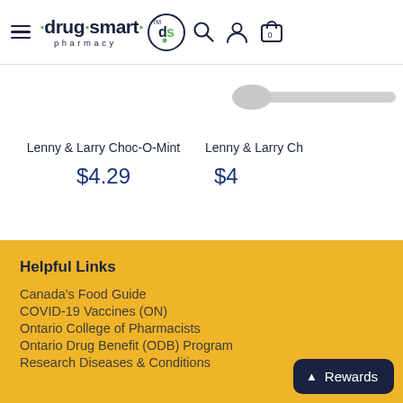drug·smart pharmacy — navigation header with hamburger menu, logo, DS icon, search, account, and cart icons
Lenny & Larry Choc-O-Mint
$4.29
Lenny & Larry Ch...
$4...
Helpful Links
Canada's Food Guide
COVID-19 Vaccines (ON)
Ontario College of Pharmacists
Ontario Drug Benefit (ODB) Program
Research Diseases & Conditions
Rewards